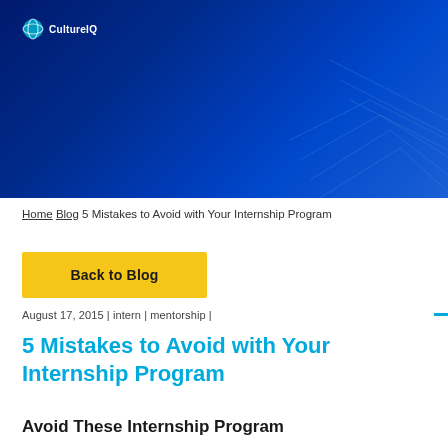[Figure (illustration): Dark blue gradient banner with decorative geometric line pattern and CultureIQ logo in top-left corner]
CultureIQ
Home Blog 5 Mistakes to Avoid with Your Internship Program
Back to Blog
August 17, 2015 | intern | mentorship |
5 Mistakes to Avoid with Your Internship Program
Avoid These Internship Program